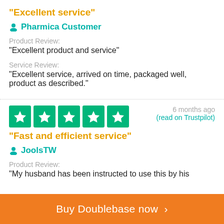"Excellent service"
Pharmica Customer
Product Review:
"Excellent product and service"
Service Review:
"Excellent service, arrived on time, packaged well, product as described."
[Figure (other): Five Trustpilot green star rating boxes]
6 months ago (read on Trustpilot)
"Fast and efficient service"
JoolsTW
Product Review:
"My husband has been instructed to use this by his
Buy Doublebase now >